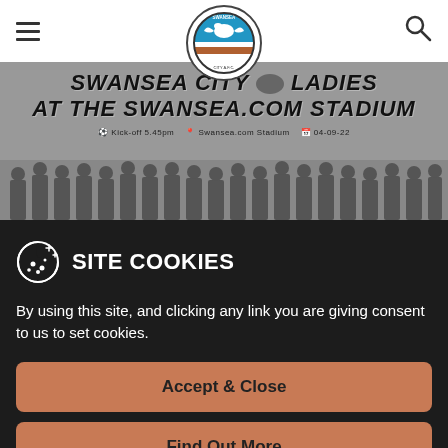Swansea City AFC – navigation header with hamburger menu, logo, and search icon
[Figure (photo): Promotional banner for Swansea City Ladies at the Swansea.com Stadium. Text: SWANSEA CITY LADIES / AT THE SWANSEA.COM STADIUM. Details: Kick-off 5.45pm, Swansea.com Stadium, 04-09-22. Team photo at the bottom.]
SITE COOKIES
By using this site, and clicking any link you are giving consent to us to set cookies.
Accept & Close
Find Out More